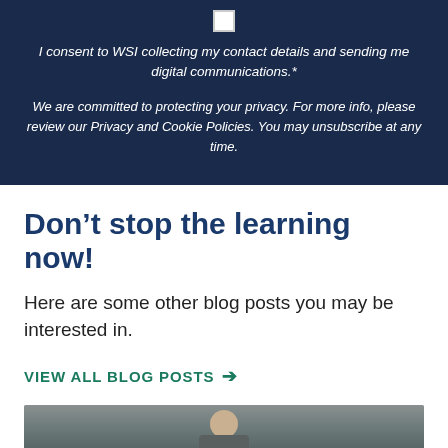[Figure (other): Checkbox (unchecked white square) on dark navy background]
I consent to WSI collecting my contact details and sending me digital communications.*
We are committed to protecting your privacy. For more info, please review our Privacy and Cookie Policies. You may unsubscribe at any time.
Don’t stop the learning now!
Here are some other blog posts you may be interested in.
VIEW ALL BLOG POSTS →
[Figure (photo): Partial photo of a person, cropped at top of image at bottom of page]